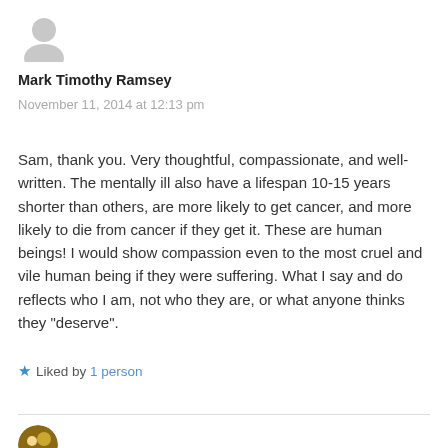[Figure (photo): Generic grey avatar/profile placeholder icon]
Mark Timothy Ramsey
November 11, 2014 at 12:13 pm
Sam, thank you. Very thoughtful, compassionate, and well-written. The mentally ill also have a lifespan 10-15 years shorter than others, are more likely to get cancer, and more likely to die from cancer if they get it. These are human beings! I would show compassion even to the most cruel and vile human being if they were suffering. What I say and do reflects who I am, not who they are, or what anyone thinks they "deserve".
★ Liked by 1 person
[Figure (photo): Second commenter avatar photo, partially visible at bottom]